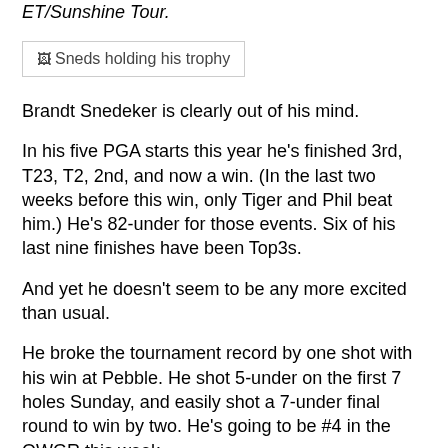ET/Sunshine Tour.
[Figure (photo): Sneds holding his trophy]
Brandt Snedeker is clearly out of his mind.
In his five PGA starts this year he's finished 3rd, T23, T2, 2nd, and now a win. (In the last two weeks before this win, only Tiger and Phil beat him.) He's 82-under for those events. Six of his last nine finishes have been Top3s.
And yet he doesn't seem to be any more excited than usual.
He broke the tournament record by one shot with his win at Pebble. He shot 5-under on the first 7 holes Sunday, and easily shot a 7-under final round to win by two. He's going to be #4 in the OWGR this week.
And yet he doesn't seem to be any more excited than usual.
He's got a 700-point lead in the FedExCup race with a current total of 1282 points. Let's put this in perspective